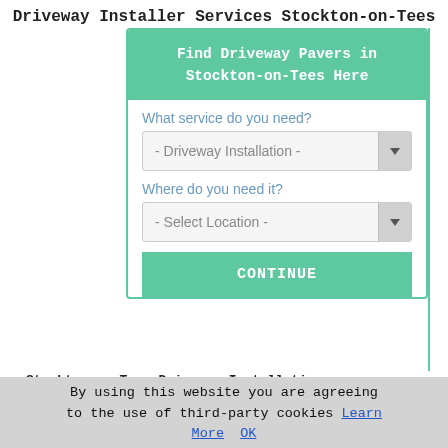Driveway Installer Services Stockton-on-Tees
[Figure (screenshot): Web form widget with teal header 'Find Driveway Pavers in Stockton-on-Tees Here', two dropdown selects labeled 'What service do you need?' (showing '- Driveway Installation -') and 'Where do you need it?' (showing '- Select Location -'), and a teal CONTINUE button.]
Stockton-on-Tees Driveway Installation
Stockton-on-Tees Domestic Driveway Installation
Stockton-on-Tees Resin Driveways
Stockton-on-Tees Driveway Installer
Stockton-on-Tees Driveway Services
By using this website you are agreeing to the use of third-party cookies Learn More  OK